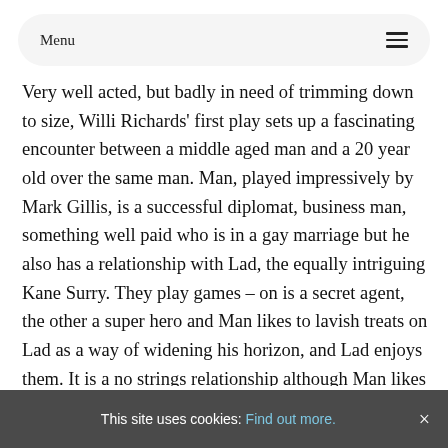Menu
Very well acted, but badly in need of trimming down to size, Willi Richards' first play sets up a fascinating encounter between a middle aged man and a 20 year old over the same man. Man, played impressively by Mark Gillis, is a successful diplomat, business man, something well paid who is in a gay marriage but he also has a relationship with Lad, the equally intriguing Kane Surry. They play games – on is a secret agent, the other a super hero and Man likes to lavish treats on Lad as a way of widening his horizon, and Lad enjoys them. It is a no strings relationship although Man likes pulling them. But Lad wants Rover 20 year old his journey should be
This site uses cookies: Find out more. ×